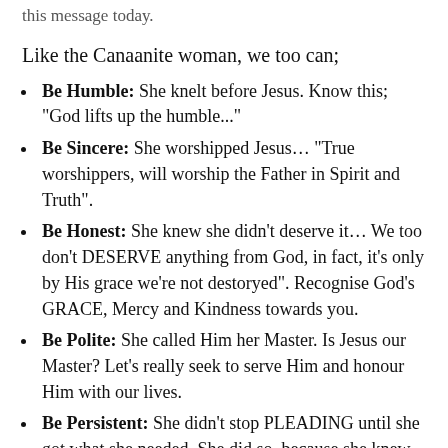this message today.
Like the Canaanite woman, we too can;
Be Humble: She knelt before Jesus. Know this; "God lifts up the humble..."
Be Sincere: She worshipped Jesus... "True worshippers, will worship the Father in Spirit and Truth".
Be Honest: She knew she didn't deserve it... We too don't DESERVE anything from God, in fact, it's only by His grace we're not destoryed". Recognise God's GRACE, Mercy and Kindness towards you.
Be Polite: She called Him her Master. Is Jesus our Master? Let's really seek to serve Him and honour Him with our lives.
Be Persistent: She didn't stop PLEADING until she got what she needed. She did so, because she knew the Master's Heart. We too can be persistent with God, knowing the Father's Heart. How he's sent us, those who...